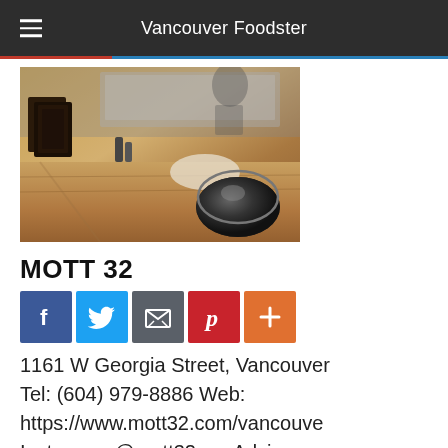Vancouver Foodster
[Figure (photo): Interior photo of restaurant bar/counter with granite countertop, dark wicker/menu holders, and a dark bowl-shaped item on the right]
MOTT 32
[Figure (other): Social media sharing buttons: Facebook, Twitter, Email, Pinterest, and a plus/more button]
1161 W Georgia Street, Vancouver Tel: (604) 979-8886 Web: https://www.mott32.com/vancouve Instagram @mott32van Advice: Advance reservations suggested. With it's focus on Fine Dining